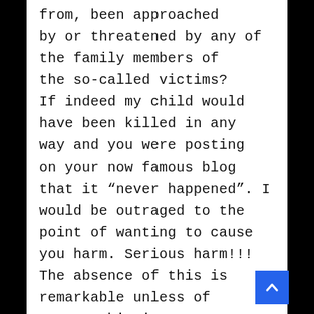from, been approached by or threatened by any of the family members of the so-called victims? If indeed my child would have been killed in any way and you were posting on your now famous blog that it “never happened”. I would be outraged to the point of wanting to cause you harm. Serious harm!!! The absence of this is remarkable unless of course this is not